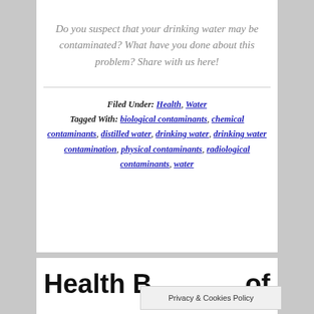Do you suspect that your drinking water may be contaminated? What have you done about this problem? Share with us here!
Filed Under: Health, Water
Tagged With: biological contaminants, chemical contaminants, distilled water, drinking water, drinking water contamination, physical contaminants, radiological contaminants, water
Health Benefits of